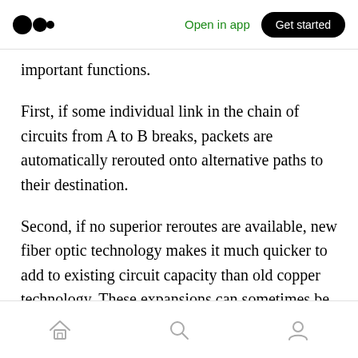Open in app | Get started
important functions.
First, if some individual link in the chain of circuits from A to B breaks, packets are automatically rerouted onto alternative paths to their destination.
Second, if no superior reroutes are available, new fiber optic technology makes it much quicker to add to existing circuit capacity than old copper technology. These expansions can sometimes be completed in just a few hours.
[home] [search] [profile]